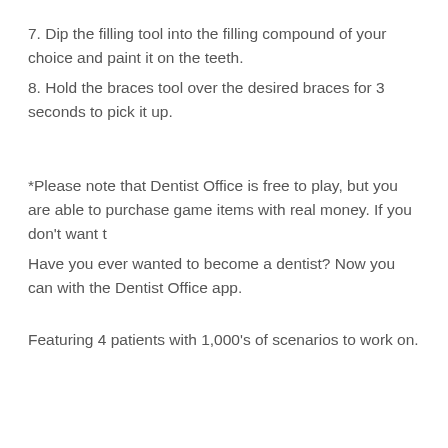7. Dip the filling tool into the filling compound of your choice and paint it on the teeth.
8. Hold the braces tool over the desired braces for 3 seconds to pick it up.
*Please note that Dentist Office is free to play, but you are able to purchase game items with real money. If you don’t want t
Have you ever wanted to become a dentist? Now you can with the Dentist Office app.
Featuring 4 patients with 1,000's of scenarios to work on.